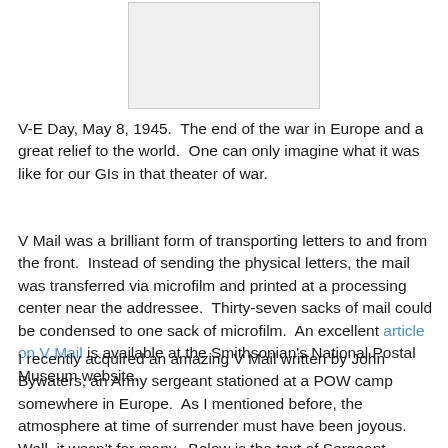[Figure (photo): A photograph or image, partially visible at the top of the page, light gray placeholder area.]
V-E Day, May 8, 1945.  The end of the war in Europe and a great relief to the world.  One can only imagine what it was like for our GIs in that theater of war.
V Mail was a brilliant form of transporting letters to and from the front.  Instead of sending the physical letters, the mail was transferred via microfilm and printed at a processing center near the addressee.  Thirty-seven sacks of mail could be condensed to one sack of microfilm.  An excellent article on V Mail is available at the Smithsonian's National Postal Museum website.
I recently acquired an amazing V Mail written by John Bywaters, an Army sergeant stationed at a POW camp somewhere in Europe.  As I mentioned before, the atmosphere at time of surrender must have been joyous.  Well, it wasn't for many.  Below is the text of Sergeant Bywaters' V Mail as it is hard to read.